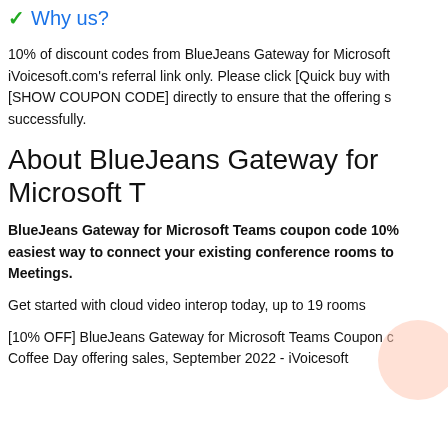Why us?
10% of discount codes from BlueJeans Gateway for Microsoft iVoicesoft.com's referral link only. Please click [Quick buy with [SHOW COUPON CODE] directly to ensure that the offering s successfully.
About BlueJeans Gateway for Microsoft T
BlueJeans Gateway for Microsoft Teams coupon code 10% easiest way to connect your existing conference rooms to Meetings.
Get started with cloud video interop today, up to 19 rooms
[10% OFF] BlueJeans Gateway for Microsoft Teams Coupon c Coffee Day offering sales, September 2022 - iVoicesoft